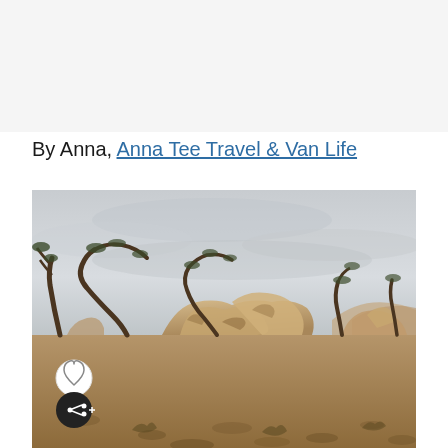By Anna, Anna Tee Travel & Van Life
[Figure (photo): Desert landscape with large granite boulder formations, sparse Joshua trees with bent trunks, dry sandy ground with shrubs, and an overcast gray sky. The scene is typical of Joshua Tree National Park. In the lower left corner, there is a white circular heart/like button and a dark circular share button.]